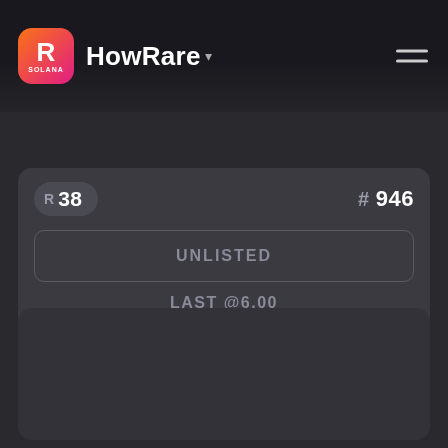HowRare · SOLANA
R 38
#946
UNLISTED
LAST @6.00